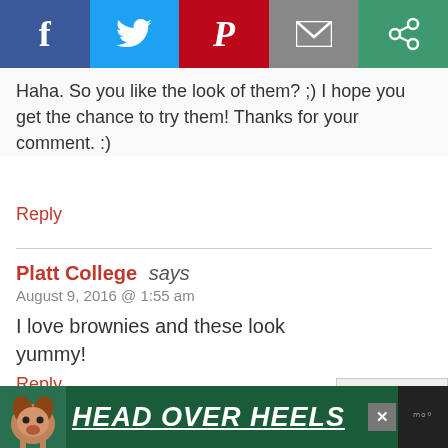[Figure (other): Social media share bar with Facebook, Twitter, Pinterest, Email, and another share option icons]
Haha. So you like the look of them? ;) I hope you get the chance to try them! Thanks for your comment. :)
Reply
Platt College says
August 9, 2016 @ 1:55 am
I love brownies and these look yummy!
Reply
Erin replies to Platt College
August 9, 2016 @ 8:37 pm
[Figure (other): Scroll to top button]
[Figure (other): Advertisement banner: HEAD OVER HEELS with dog photo]